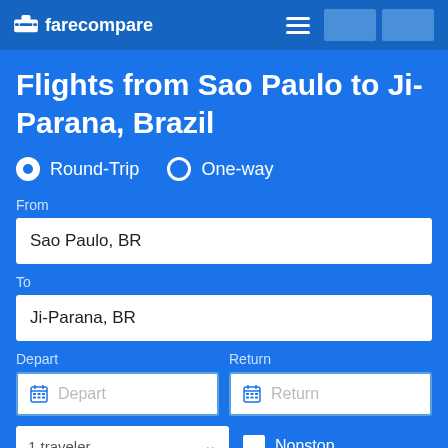farecompare
Flights from Sao Paulo to Ji-Parana, Brazil
Round-Trip   One-way
From
Sao Paulo, BR
To
Ji-Parana, BR
Depart   Return
Depart
Return
1 traveler
Nonstop